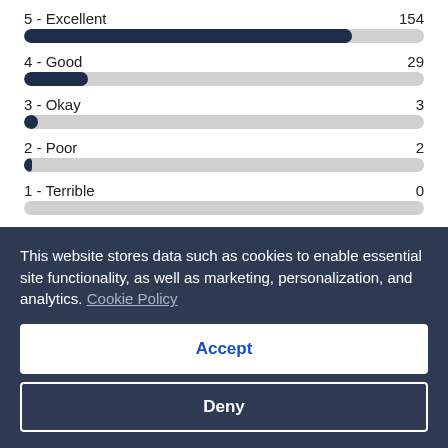[Figure (bar-chart): Verified reviews]
4.8/5
4.8/5
This website stores data such as cookies to enable essential site functionality, as well as marketing, personalization, and analytics. Cookie Policy